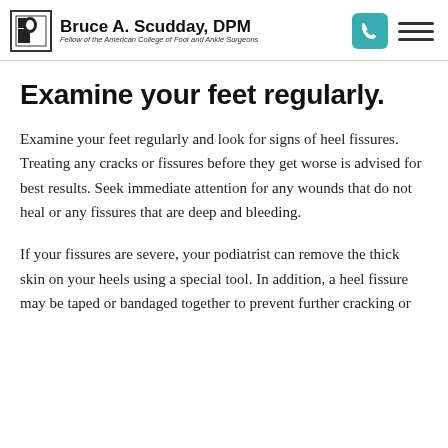Bruce A. Scudday, DPM — Fellow of the American College of Foot and Ankle Surgeons
Examine your feet regularly.
Examine your feet regularly and look for signs of heel fissures. Treating any cracks or fissures before they get worse is advised for best results. Seek immediate attention for any wounds that do not heal or any fissures that are deep and bleeding.
If your fissures are severe, your podiatrist can remove the thick skin on your heels using a special tool. In addition, a heel fissure may be taped or bandaged together to prevent further cracking or